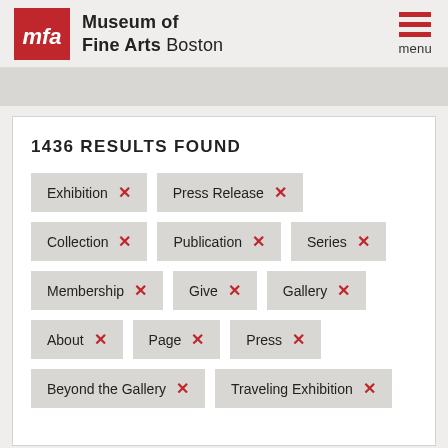[Figure (logo): Museum of Fine Arts Boston logo with red MFA square logo and text]
1436 RESULTS FOUND
Exhibition ×
Press Release ×
Collection ×
Publication ×
Series ×
Membership ×
Give ×
Gallery ×
About ×
Page ×
Press ×
Beyond the Gallery ×
Traveling Exhibition ×